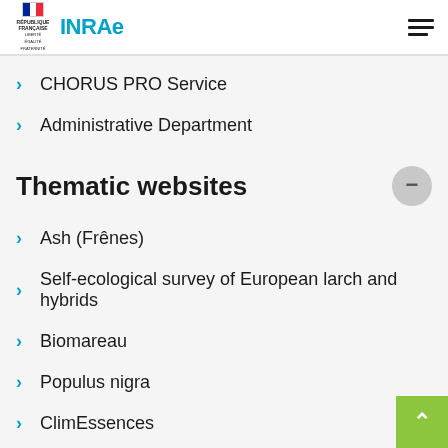REPUBLIQUE FRANÇAISE — INRAE
CHORUS PRO Service
Administrative Department
Thematic websites
Ash (Frênes)
Self-ecological survey of European larch and hybrids
Biomareau
Populus nigra
ClimEssences
Subscribe to news
To reach us